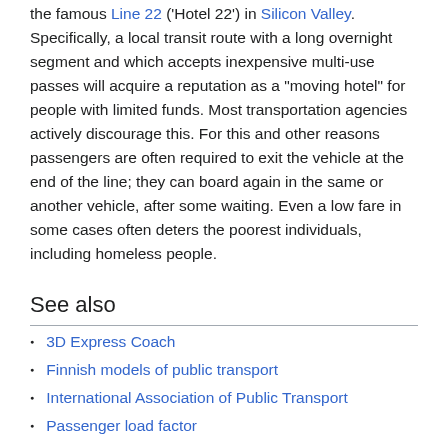the famous Line 22 ('Hotel 22') in Silicon Valley. Specifically, a local transit route with a long overnight segment and which accepts inexpensive multi-use passes will acquire a reputation as a "moving hotel" for people with limited funds. Most transportation agencies actively discourage this. For this and other reasons passengers are often required to exit the vehicle at the end of the line; they can board again in the same or another vehicle, after some waiting. Even a low fare in some cases often deters the poorest individuals, including homeless people.
See also
3D Express Coach
Finnish models of public transport
International Association of Public Transport
Passenger load factor
Patronage (transport)
Private transport
Public transport bus service
Public transport route planner
Public transport timetable